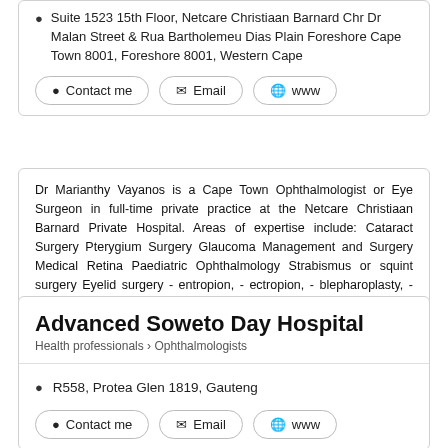Suite 1523 15th Floor, Netcare Christiaan Barnard Chr Dr Malan Street & Rua Bartholemeu Dias Plain Foreshore Cape Town 8001, Foreshore 8001, Western Cape
Contact me | Email | www
Dr Marianthy Vayanos is a Cape Town Ophthalmologist or Eye Surgeon in full-time private practice at the Netcare Christiaan Barnard Private Hospital. Areas of expertise include: Cataract Surgery Pterygium Surgery Glaucoma Management and Surgery Medical Retina Paediatric Ophthalmology Strabismus or squint surgery Eyelid surgery - entropion, - ectropion, - blepharoplasty, - excision eyelid lesions General medical ophthalmological problems  Read more
Advanced Soweto Day Hospital
Health professionals > Ophthalmologists
R558, Protea Glen 1819, Gauteng
Contact me | Email | www